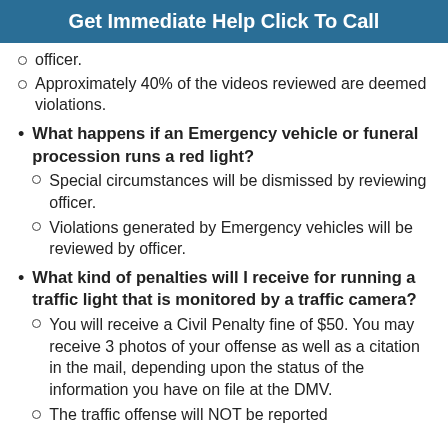Get Immediate Help Click To Call
officer.
Approximately 40% of the videos reviewed are deemed violations.
What happens if an Emergency vehicle or funeral procession runs a red light?
Special circumstances will be dismissed by reviewing officer.
Violations generated by Emergency vehicles will be reviewed by officer.
What kind of penalties will I receive for running a traffic light that is monitored by a traffic camera?
You will receive a Civil Penalty fine of $50. You may receive 3 photos of your offense as well as a citation in the mail, depending upon the status of the information you have on file at the DMV.
The traffic offense will NOT be reported